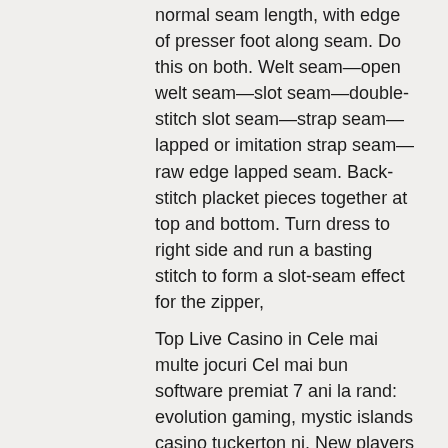normal seam length, with edge of presser foot along seam. Do this on both. Welt seam—open welt seam—slot seam—double-stitch slot seam—strap seam—lapped or imitation strap seam—raw edge lapped seam. Back-stitch placket pieces together at top and bottom. Turn dress to right side and run a basting stitch to form a slot-seam effect for the zipper,
Top Live Casino in Cele mai multe jocuri Cel mai bun software premiat 7 ani la rand: evolution gaming, mystic islands casino tuckerton nj. New players are also given +$850 on next deposits to play the most popular casino games available, including the hot Mega Vault Millionaire with its minimum jackpot of $1 MILLION! So in the long run, the online casino will always make money, czech online casino 2022 no deposit. When the odds are stacked against you like they are in online casino gambling, it would